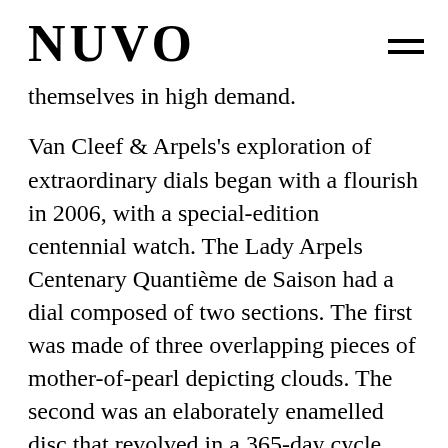NUVO
themselves in high demand.
Van Cleef & Arpels's exploration of extraordinary dials began with a flourish in 2006, with a special-edition centennial watch. The Lady Arpels Centenary Quantième de Saison had a dial composed of two sections. The first was made of three overlapping pieces of mother-of-pearl depicting clouds. The second was an elaborately enamelled disc that revolved in a 365-day cycle underneath the clouds, exposing seasonal scenes as it moved. These scenes were tiny miniature enamel paintings of roses, leaves, branches, butterflies,